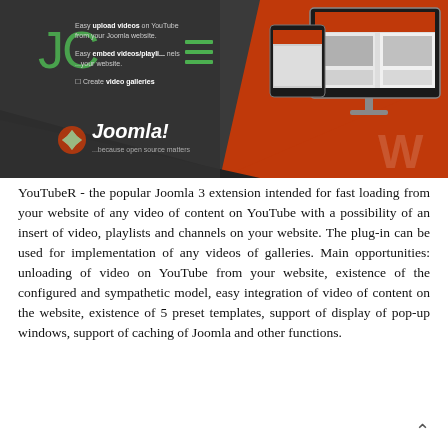[Figure (screenshot): Banner image showing a Joomla YouTube plugin interface with a dark/orange background, computer monitor displaying a YouTube-like website, Joomla logo with text '...because open source matters', and feature list including 'Easy upload videos on YouTube from your Joomla website', 'Easy embed videos/playlists/channels on your website', 'Create video galleries']
YouTubeR - the popular Joomla 3 extension intended for fast loading from your website of any video of content on YouTube with a possibility of an insert of video, playlists and channels on your website. The plug-in can be used for implementation of any videos of galleries. Main opportunities: unloading of video on YouTube from your website, existence of the configured and sympathetic model, easy integration of video of content on the website, existence of 5 preset templates, support of display of pop-up windows, support of caching of Joomla and other functions.